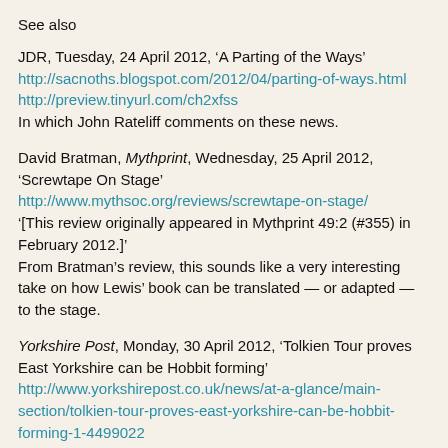See also
JDR, Tuesday, 24 April 2012, ‘A Parting of the Ways’
http://sacnoths.blogspot.com/2012/04/parting-of-ways.html
http://preview.tinyurl.com/ch2xfss
In which John Rateliff comments on these news.
David Bratman, Mythprint, Wednesday, 25 April 2012, ‘Screwtape On Stage’
http://www.mythsoc.org/reviews/screwtape-on-stage/
‘[This review originally appeared in Mythprint 49:2 (#355) in February 2012.]’
From Bratman’s review, this sounds like a very interesting take on how Lewis’ book can be translated — or adapted — to the stage.
Yorkshire Post, Monday, 30 April 2012, ‘Tolkien Tour proves East Yorkshire can be Hobbit forming’
http://www.yorkshirepost.co.uk/news/at-a-glance/main-section/tolkien-tour-proves-east-yorkshire-can-be-hobbit-forming-1-4499022
http://preview.tinyurl.com/cevybs5
Phil Mathison has written a book, Tolkien in East Yorkshire